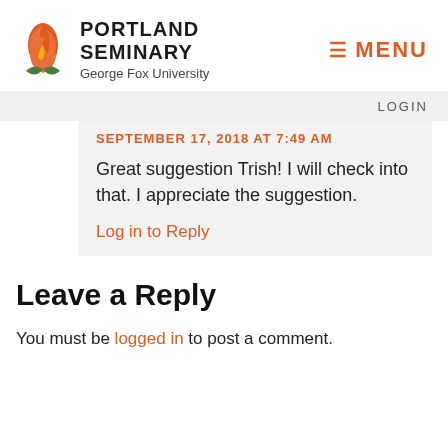[Figure (logo): Portland Seminary at George Fox University logo with flame icon and text]
MENU
LOGIN
SEPTEMBER 17, 2018 AT 7:49 AM
Great suggestion Trish! I will check into that. I appreciate the suggestion.
Log in to Reply
Leave a Reply
You must be logged in to post a comment.